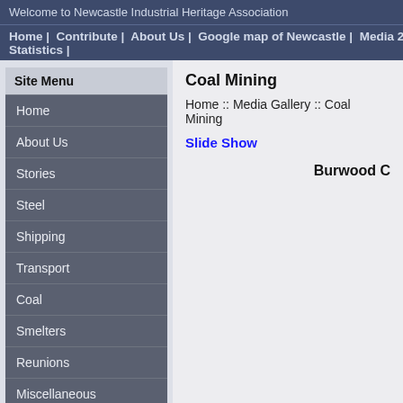Welcome to Newcastle Industrial Heritage Association
Home | Contribute | About Us | Google map of Newcastle | Media 2014 | MOVIES of Ste... Statistics |
Site Menu
Home
About Us
Stories
Steel
Shipping
Transport
Coal
Smelters
Reunions
Miscellaneous
Photo Gallery
Movies of Steelworks
Coal Mining
Home :: Media Gallery :: Coal Mining
Slide Show
Burwood C